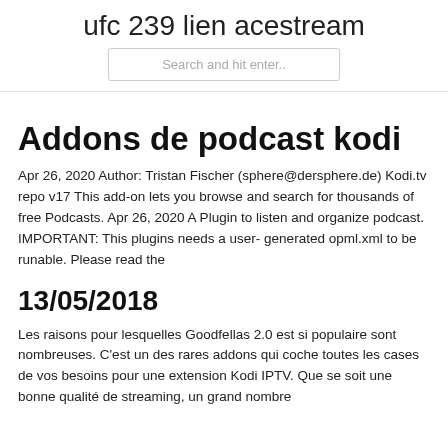ufc 239 lien acestream
Search and hit enter..
Addons de podcast kodi
Apr 26, 2020 Author: Tristan Fischer (sphere@dersphere.de) Kodi.tv repo v17 This add-on lets you browse and search for thousands of free Podcasts. Apr 26, 2020 A Plugin to listen and organize podcast. IMPORTANT: This plugins needs a user- generated opml.xml to be runable. Please read the
13/05/2018
Les raisons pour lesquelles Goodfellas 2.0 est si populaire sont nombreuses. C'est un des rares addons qui coche toutes les cases de vos besoins pour une extension Kodi IPTV. Que se soit une bonne qualité de streaming, un grand nombre